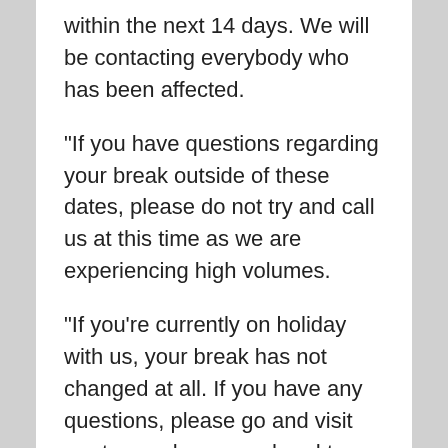within the next 14 days. We will be contacting everybody who has been affected.
"If you have questions regarding your break outside of these dates, please do not try and call us at this time as we are experiencing high volumes.
"If you’re currently on holiday with us, your break has not changed at all. If you have any questions, please go and visit our team who are on hand to help.
"We hope you understand this decision has been made with the interest of your wellbeing and that of our team."